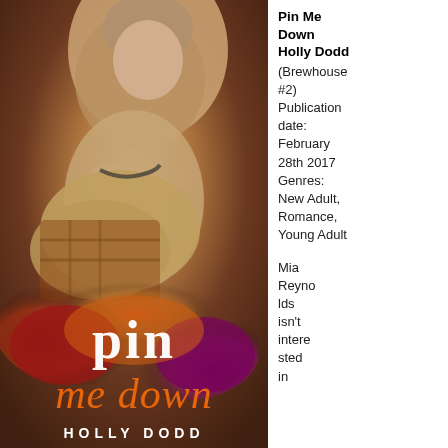[Figure (illustration): Book cover for 'Pin Me Down' by Holly Dodd. Shows a romantic couple embracing and kissing against a warm amber/golden background with watercolor splashes of red, orange, and purple at the bottom. The title 'pin me down' appears in white and orange script, with the author name 'HOLLY DODD' at the bottom.]
Pin Me Down
Holly Dodd (Brewhouse #2) Publication date: February 28th 2017 Genres: New Adult, Romance, Young Adult
Mia Reynolds isn't interested in